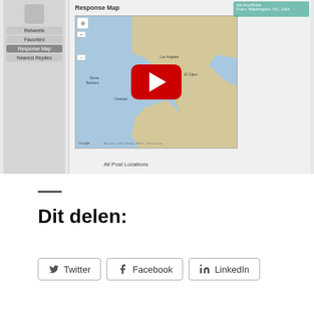[Figure (screenshot): Screenshot of a Twitter/social media tool showing a 'Response Map' with a Google Map of Southern California overlaid with a YouTube play button, and left sidebar with navigation options including Retweets, Favorited, Response Map, Nearest Replies]
All Post Locations
Dit delen:
[Figure (other): Social share buttons: Twitter, Facebook, LinkedIn]